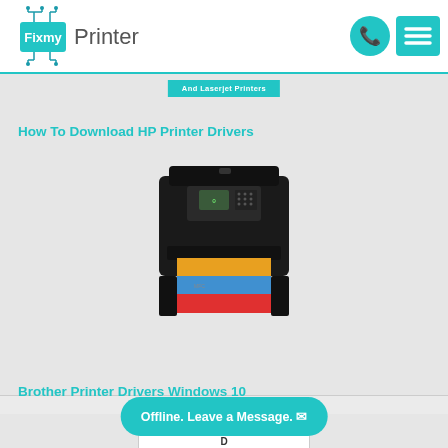[Figure (logo): FixmyPrinter logo with circuit board icon and teal background box, phone icon and hamburger menu icon on right]
[Figure (other): Teal banner partially visible with text 'And Laserjet Printers']
How To Download HP Printer Drivers
[Figure (photo): Brother all-in-one inkjet printer, black, with colorful printout coming out]
Brother Printer Drivers Windows 10
[Figure (screenshot): Partial Canon Printer Drivers image/screenshot, partially obscured by offline chat widget]
Offline. Leave a Message.